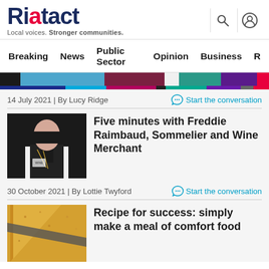Riotact — Local voices. Stronger communities.
Breaking  News  Public Sector  Opinion  Business
14 July 2021 | By Lucy Ridge
Start the conversation
[Figure (photo): Sommelier in white shirt, black vest with lanyard and chains, wine merchant uniform]
Five minutes with Freddie Raimbaud, Sommelier and Wine Merchant
30 October 2021 | By Lottie Twyford
Start the conversation
[Figure (photo): Close-up of golden-brown comfort food, triangular pieces with a diagonal strap across]
Recipe for success: simply make a meal of comfort food